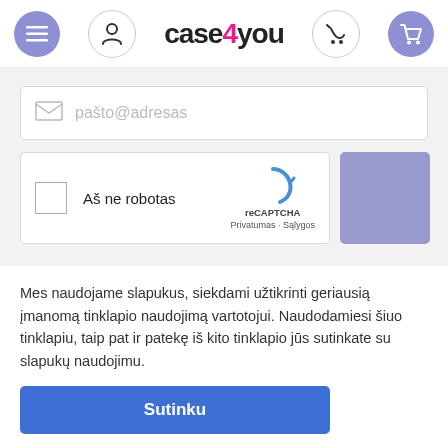[Figure (screenshot): Website header with hamburger menu icon (purple circle), user icon (outline circle), case4you logo, phone icon (outline circle), and shopping cart icon (purple circle)]
[Figure (screenshot): Email input field with placeholder text 'pašto@adresas' and envelope icon, followed by reCAPTCHA widget with checkbox 'Aš ne robotas' and purple button placeholder]
Mes naudojame slapukus, siekdami užtikrinti geriausią įmanomą tinklapio naudojimą vartotojui. Naudodamiesi šiuo tinklapiu, taip pat ir patekę iš kito tinklapio jūs sutinkate su slapukų naudojimu.
Sutinku
AKCIJOS